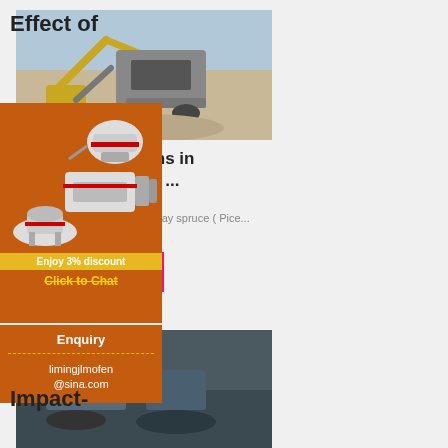[Figure (photo): Industrial mining crusher machine with excavator in background, outdoors at quarry]
Effect of grinding conditions in oscillatory milling ...
2013-4-1   Abstract Norway spruce ( Pice...
Read More
[Figure (photo): Mining or quarry scene, partially visible at bottom]
[Figure (infographic): Orange sidebar advertisement showing crushing/milling machines with 'Enjoy 3% discount' and 'Click to Chat' call to action]
Enquiry
limingjlmofen@sina.com
Impact-